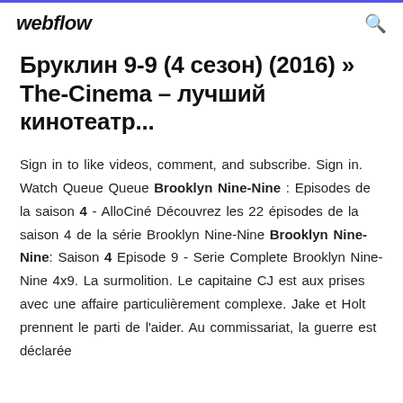webflow
Бруклин 9-9 (4 сезон) (2016) » The-Cinema – лучший кинотеатр...
Sign in to like videos, comment, and subscribe. Sign in. Watch Queue Queue Brooklyn Nine-Nine : Episodes de la saison 4 - AlloCiné Découvrez les 22 épisodes de la saison 4 de la série Brooklyn Nine-Nine Brooklyn Nine-Nine: Saison 4 Episode 9 - Serie Complete Brooklyn Nine-Nine 4x9. La surmolition. Le capitaine CJ est aux prises avec une affaire particulièrement complexe. Jake et Holt prennent le parti de l'aider. Au commissariat, la guerre est déclarée